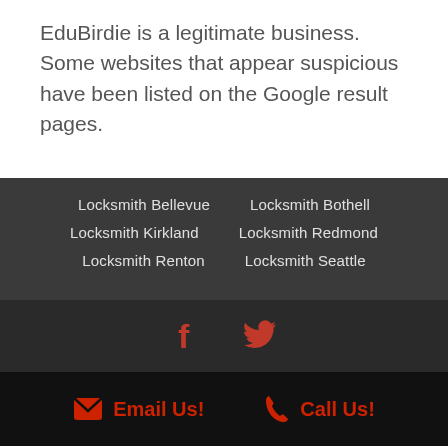EduBirdie is a legitimate business. Some websites that appear suspicious have been listed on the Google result pages.
Locksmith Bellevue
Locksmith Bothell
Locksmith Kirkland
Locksmith Redmond
Locksmith Renton
Locksmith Seattle
[Figure (other): Social media icons: Facebook and Twitter in red on dark background]
Email Us! Call Us!